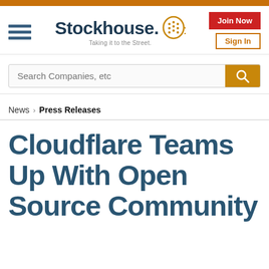[Figure (logo): Stockhouse logo with head icon and tagline 'Taking it to the Street.']
Search Companies, etc
News > Press Releases
Cloudflare Teams Up With Open Source Community